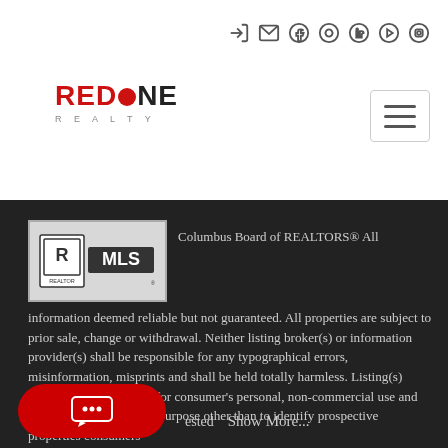[Figure (logo): Red One Realty logo with navigation icons]
Columbus Board of REALTORS® All information deemed reliable but not guaranteed. All properties are subject to prior sale, change or withdrawal. Neither listing broker(s) or information provider(s) shall be responsible for any typographical errors, misinformation, misprints and shall be held totally harmless. Listing(s) information is provided for consumer's personal, non-commercial use and may not be used for any purpose other than to identify prospective properties consumers interested Show More...